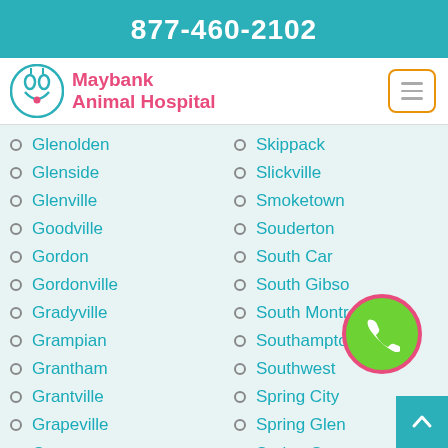877-460-2102
Maybank Animal Hospital
Glenolden
Glenside
Glenville
Goodville
Gordon
Gordonville
Gradyville
Grampian
Grantham
Grantville
Grapeville
Gratz
Skippack
Slickville
Smoketown
Souderton
South Car...
South Gibso...
South Montrose
Southampton
Southwest
Spring City
Spring Glen
Spring Grove